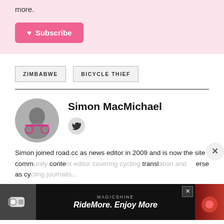more.
♥ Subscribe
ZIMBABWE
BICYCLE THIEF
Simon MacMichael
[Figure (photo): Circular profile photo of Simon MacMichael holding a pink bicycle]
[Figure (photo): Twitter/social icon]
Simon joined road.cc as news editor in 2009 and is now the site comm... content... transl... erse as cy...
[Figure (photo): Magicshine advertisement banner: RideMore. Enjoy More]